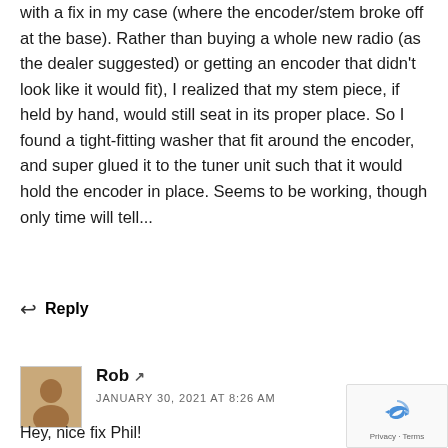with a fix in my case (where the encoder/stem broke off at the base). Rather than buying a whole new radio (as the dealer suggested) or getting an encoder that didn't look like it would fit), I realized that my stem piece, if held by hand, would still seat in its proper place. So I found a tight-fitting washer that fit around the encoder, and super glued it to the tuner unit such that it would hold the encoder in place. Seems to be working, though only time will tell...
Reply
Rob
JANUARY 30, 2021 AT 8:26 AM
Hey, nice fix Phil!